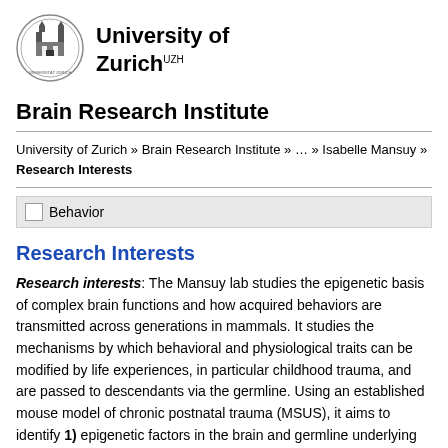[Figure (logo): University of Zurich circular seal/crest logo]
University of Zurich UZH
Brain Research Institute
University of Zurich » Brain Research Institute » … » Isabelle Mansuy » Research Interests
Behavior
Research Interests
Research interests: The Mansuy lab studies the epigenetic basis of complex brain functions and how acquired behaviors are transmitted across generations in mammals. It studies the mechanisms by which behavioral and physiological traits can be modified by life experiences, in particular childhood trauma, and are passed to descendants via the germline. Using an established mouse model of chronic postnatal trauma (MSUS), it aims to identify 1) epigenetic factors in the brain and germline underlying the expression and the transmission of behavioral and physiological symptoms, and abilities, behaviors, and other